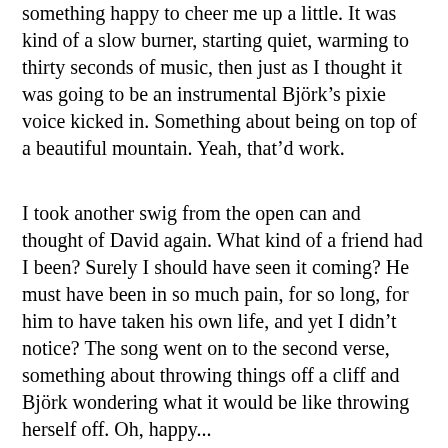something happy to cheer me up a little. It was kind of a slow burner, starting quiet, warming to thirty seconds of music, then just as I thought it was going to be an instrumental Björk's pixie voice kicked in. Something about being on top of a beautiful mountain. Yeah, that'd work.
I took another swig from the open can and thought of David again. What kind of a friend had I been? Surely I should have seen it coming? He must have been in so much pain, for so long, for him to have taken his own life, and yet I didn't notice? The song went on to the second verse, something about throwing things off a cliff and Björk wondering what it would be like throwing herself off. Oh, happy...
“It’s not your fault,” said a voice from the bunk behind me.
I span round, startled. “David?”
“Have you forgotten me already?” he smiled weakly